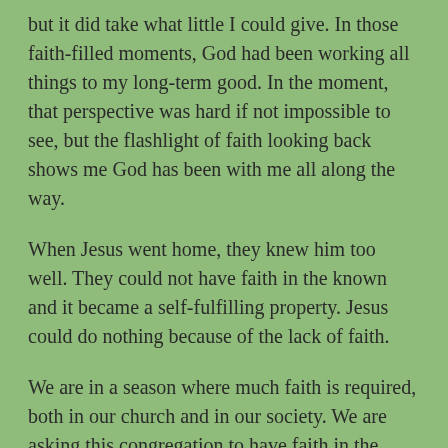but it did take what little I could give. In those faith-filled moments, God had been working all things to my long-term good. In the moment, that perspective was hard if not impossible to see, but the flashlight of faith looking back shows me God has been with me all along the way.
When Jesus went home, they knew him too well. They could not have faith in the known and it became a self-fulfilling property. Jesus could do nothing because of the lack of faith.
We are in a season where much faith is required, both in our church and in our society. We are asking this congregation to have faith in the leadership of the parish. As a society, we are wrestling in what and who to have faith in as well.